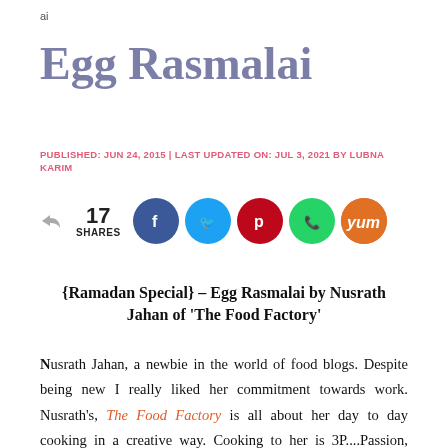ai
Egg Rasmalai
PUBLISHED: JUN 24, 2015 | LAST UPDATED ON: JUL 3, 2021 BY LUBNA KARIM
[Figure (infographic): Share count of 17 with social media share buttons: Facebook (blue), Twitter (light blue), Pinterest (red), WhatsApp (green), Yummly (orange)]
{Ramadan Special} – Egg Rasmalai by Nusrath Jahan of 'The Food Factory'
Nusrath Jahan, a newbie in the world of food blogs. Despite being new I really liked her commitment towards work. Nusrath's, The Food Factory is all about her day to day cooking in a creative way. Cooking to her is 3P....Passion, Patience and Perception...There is a lot you